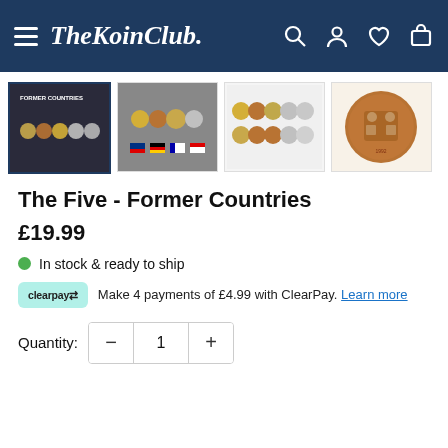The KoinClub.
[Figure (photo): Four product thumbnail images showing coin sets from Former Countries collection]
The Five - Former Countries
£19.99
In stock & ready to ship
Make 4 payments of £4.99 with ClearPay. Learn more
Quantity: 1